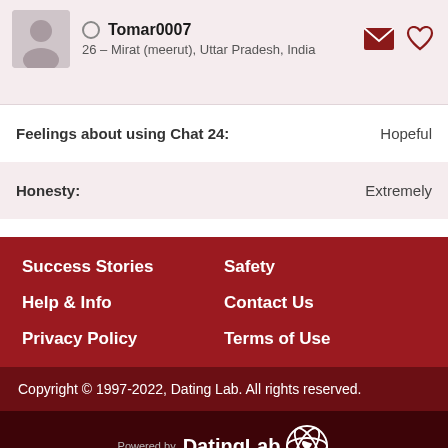Tomar0007 – 26 – Mirat (meerut), Uttar Pradesh, India
Feelings about using Chat 24: Hopeful
Honesty: Extremely
Success Stories
Safety
Help & Info
Contact Us
Privacy Policy
Terms of Use
Copyright © 1997-2022, Dating Lab. All rights reserved.
[Figure (logo): Powered by DatingLab logo with atomic/heart icon in white on dark red background]